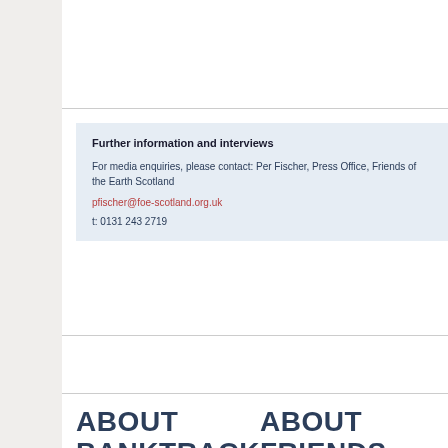Further information and interviews
For media enquiries, please contact: Per Fischer, Press Office, Friends of the Earth Scotland
pfischer@foe-scotland.org.uk
t: 0131 243 2719
ABOUT BANKTRACK
ABOUT FRIENDS OF THE EARTH